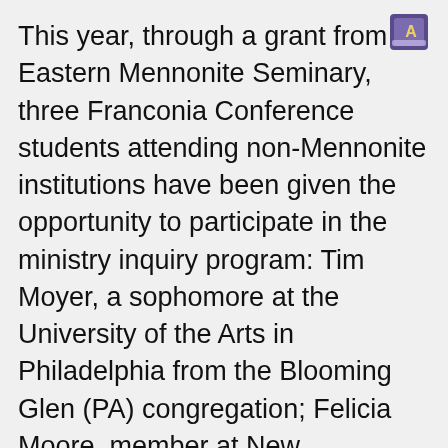[Figure (logo): Small icon or logo image in upper right corner, appears to be a stylized book or card with a purple/blue design and the letter A]
This year, through a grant from Eastern Mennonite Seminary, three Franconia Conference students attending non-Mennonite institutions have been given the opportunity to participate in the ministry inquiry program: Tim Moyer, a sophomore at the University of the Arts in Philadelphia from the Blooming Glen (PA) congregation; Felicia Moore, member at New Beginnings Community Church in Bristol, PA, who is in her second year at Indiana University of Pennsylvania; along with Philadelphia Praise Center attendee and first year Penn State University student, Andrew Liemon. Moyer